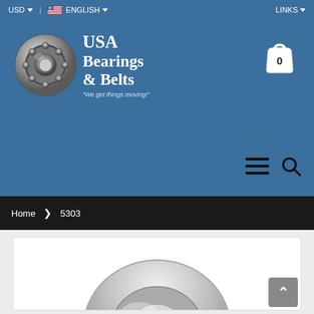USD  |  ENGLISH   LINKS
[Figure (logo): USA Bearings & Belts logo with bearing image and text 'We get things moving!']
[Figure (infographic): Shopping cart icon with count 0]
[Figure (other): Hamburger menu and search icons in header]
Home > 5303
[Figure (photo): Product image of a ball bearing (5303), partially visible, silver/chrome color]